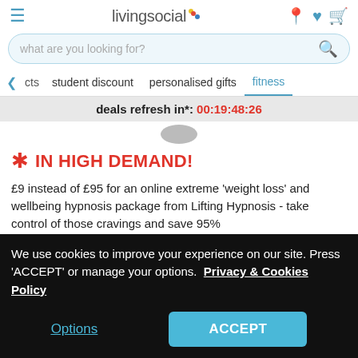livingsocial
what are you looking for?
cts   student discount   personalised gifts   fitness
deals refresh in*: 00:19:48:26
IN HIGH DEMAND!
£9 instead of £95 for an online extreme 'weight loss' and wellbeing hypnosis package from Lifting Hypnosis - take control of those cravings and save 95%
Highlights
Hypnosis package: Tri... self trai... with this weigh...
We use cookies to improve your experience on our site. Press 'ACCEPT' or manage your options. Privacy & Cookies Policy
Options    ACCEPT